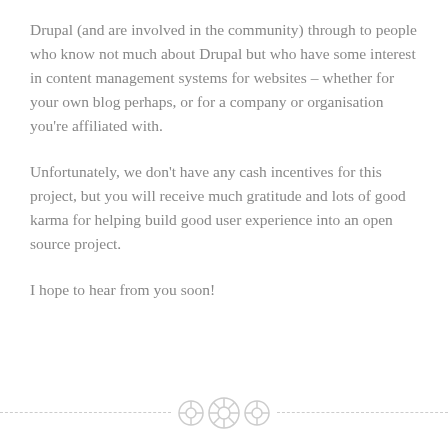Drupal (and are involved in the community) through to people who know not much about Drupal but who have some interest in content management systems for websites – whether for your own blog perhaps, or for a company or organisation you're affiliated with.
Unfortunately, we don't have any cash incentives for this project, but you will receive much gratitude and lots of good karma for helping build good user experience into an open source project.
I hope to hear from you soon!
[Figure (illustration): Three decorative button icons centered on a dashed horizontal line at the bottom of the page]